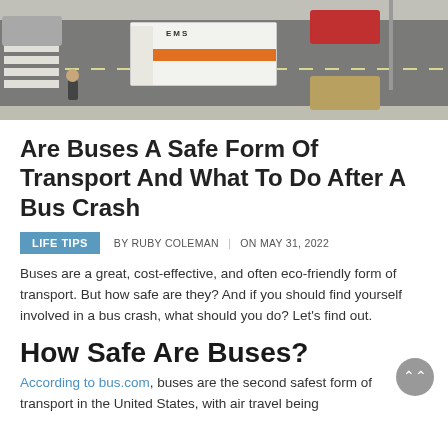[Figure (photo): Overhead view of a street intersection with an EMS ambulance, several cars, a crosswalk, and a pedestrian]
Are Buses A Safe Form Of Transport And What To Do After A Bus Crash
LIFE TIPS   BY RUBY COLEMAN   |   ON MAY 31, 2022
Buses are a great, cost-effective, and often eco-friendly form of transport. But how safe are they? And if you should find yourself involved in a bus crash, what should you do? Let's find out.
How Safe Are Buses?
According to bus.com, buses are the second safest form of transport in the United States, with air travel being